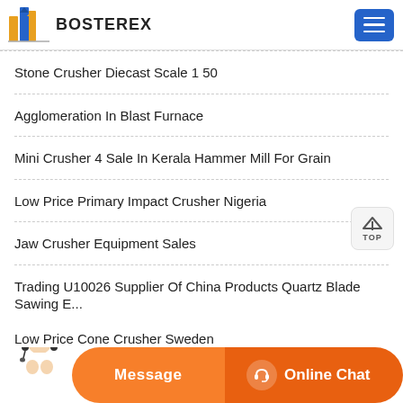BOSTEREX
Stone Crusher Diecast Scale 1 50
Agglomeration In Blast Furnace
Mini Crusher 4 Sale In Kerala Hammer Mill For Grain
Low Price Primary Impact Crusher Nigeria
Jaw Crusher Equipment Sales
Trading U10026 Supplier Of China Products Quartz Blade Sawing E...
Low Price Cone Crusher Sweden
[Figure (screenshot): Orange bottom bar with Message button and Online Chat button with headset icon, and a customer support agent image overlaid on the left side.]